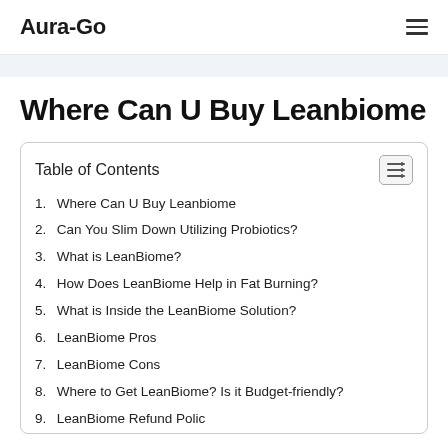Aura-Go
Where Can U Buy Leanbiome
Table of Contents
1. Where Can U Buy Leanbiome
2. Can You Slim Down Utilizing Probiotics?
3. What is LeanBiome?
4. How Does LeanBiome Help in Fat Burning?
5. What is Inside the LeanBiome Solution?
6. LeanBiome Pros
7. LeanBiome Cons
8. Where to Get LeanBiome? Is it Budget-friendly?
9. LeanBiome Refund Policy